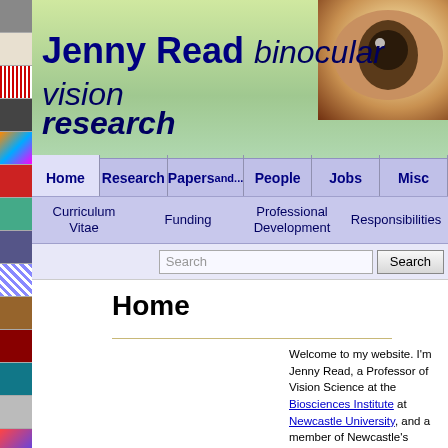[Figure (screenshot): Website header banner with green/leaf background and eye image. Title reads 'Jenny Read binocular vision research']
Home | Research | Papers and ... | People | Jobs | Misc
Curriculum Vitae | Funding | Professional Development | Responsibilities
Search [search box] Search [button]
Home
Welcome to my website. I'm Jenny Read, a Professor of Vision Science at the Biosciences Institute at Newcastle University, and a member of Newcastle's Centre for Behaviour and Evolution. My